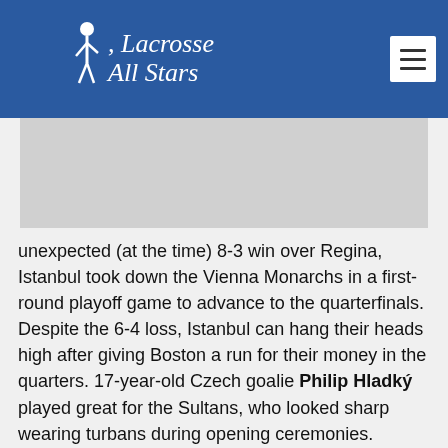[Figure (logo): Lacrosse All Stars logo with stylized player figure in white on blue background, with hamburger menu icon on the right]
[Figure (photo): Gray image placeholder area]
unexpected (at the time) 8-3 win over Regina, Istanbul took down the Vienna Monarchs in a first-round playoff game to advance to the quarterfinals. Despite the 6-4 loss, Istanbul can hang their heads high after giving Boston a run for their money in the quarters. 17-year-old Czech goalie Philip Hladký played great for the Sultans, who looked sharp wearing turbans during opening ceremonies.
Turkey will be making their world indoor debut at WILC2015, and with Dougherty wrapping up his career as a player, you can be sure they'll be well organized and competitive, just